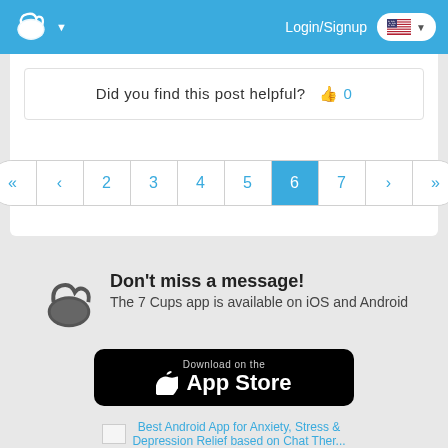7 Cups - Login/Signup
Did you find this post helpful? 👍 0
« ‹ 2 3 4 5 6 7 › »
Don't miss a message! The 7 Cups app is available on iOS and Android
Download on the App Store
Best Android App for Anxiety, Stress & Depression Relief based on Chat Therapy...